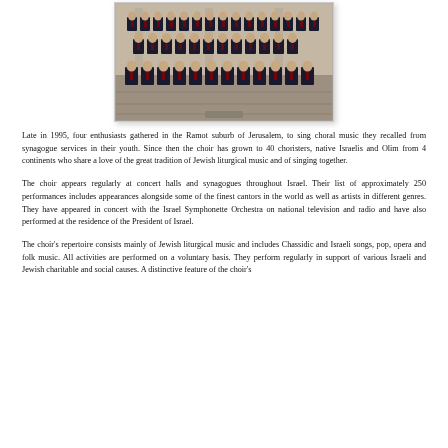[Figure (photo): Group photo of a choir of approximately 40 men in dark suits with red ties, posed in rows in what appears to be a stone courtyard or building]
Late in 1995, four enthusiasts gathered in the Ramot suburb of Jerusalem, to sing choral music they recalled from synagogue services in their youth. Since then the choir has grown to 40 choristers, native Israelis and Olim from 4 continents who share a love of the great tradition of Jewish liturgical music and of singing together.
The choir appears regularly at concert halls and synagogues throughout Israel. Their list of approximately 250 performances includes appearances alongside some of the finest cantors in the world as well as artists in different genres. They have appeared in concert with the Israel Symphonette Orchestra on national television and radio and have also performed at the residence of the President of Israel.
The choir's repertoire consists mainly of Jewish liturgical music and includes Chassidic and Israeli songs, pop, opera and folk music. All activities are performed on a voluntary basis. They perform regularly in support of various Israeli and Jewish charitable and social causes. A distinctive feature of the choir's